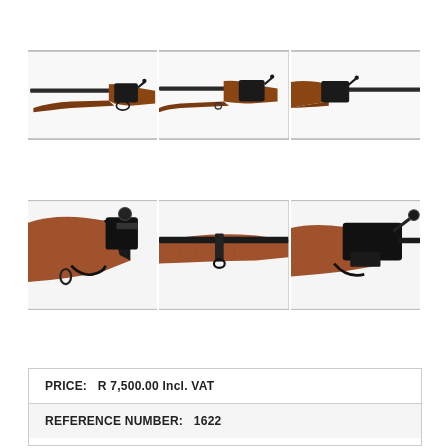[Figure (photo): Six photographs of a bolt-action rifle (likely a Mauser-type) shown from different angles: top row shows three views of the full rifle from the left side at different zoom levels; bottom row shows three close-up detail views of the rifle's action, barrel, and receiver area.]
| PRICE: | R 7,500.00 Incl. VAT |
| REFERENCE NUMBER: | 1622 |